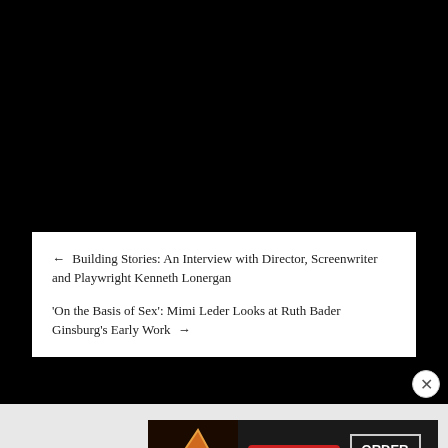[Figure (screenshot): Black background area at top of page]
← Building Stories: An Interview with Director, Screenwriter and Playwright Kenneth Lonergan
'On the Basis of Sex': Mimi Leder Looks at Ruth Bader Ginsburg's Early Work →
Advertisements
[Figure (screenshot): Seamless food delivery advertisement banner showing pizza image on left, red Seamless logo in center, and ORDER NOW button on right against dark background]